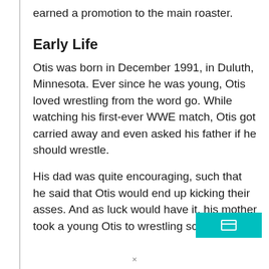earned a promotion to the main roaster.
Early Life
Otis was born in December 1991, in Duluth, Minnesota. Ever since he was young, Otis loved wrestling from the word go. While watching his first-ever WWE match, Otis got carried away and even asked his father if he should wrestle.
His dad was quite encouraging, such that he said that Otis would end up kicking their asses. And as luck would have it, his mother took a young Otis to wrestling school.